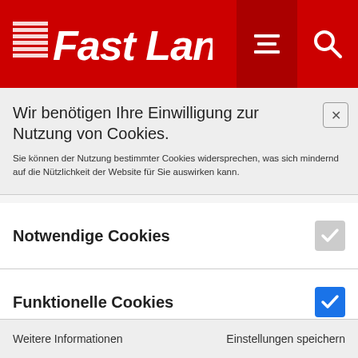[Figure (logo): Fast Lane logo in white italic bold text on red background header with hamburger menu and search icons]
Wir benötigen Ihre Einwilligung zur Nutzung von Cookies.
Sie können der Nutzung bestimmter Cookies widersprechen, was sich mindernd auf die Nützlichkeit der Website für Sie auswirken kann.
Notwendige Cookies
Funktionelle Cookies
Marketing Cookies
Weitere Informationen		Einstellungen speichern